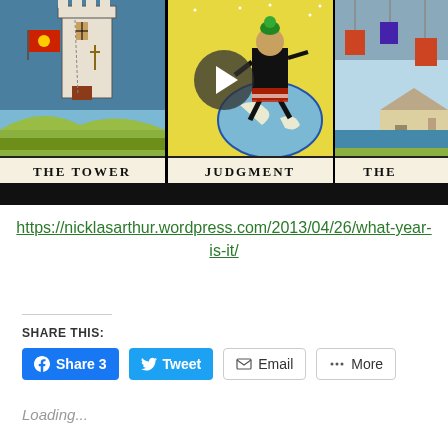[Figure (screenshot): Video thumbnail showing three tarot cards side by side: THE TOWER (left), JUDGMENT (center), and THE (right, partially cut off), with a play button overlay. A black bar runs across the bottom of the video.]
https://nicklasarthur.wordpress.com/2013/04/26/what-year-is-it/
SHARE THIS:
Share 3  Tweet  Email  More
Loading...